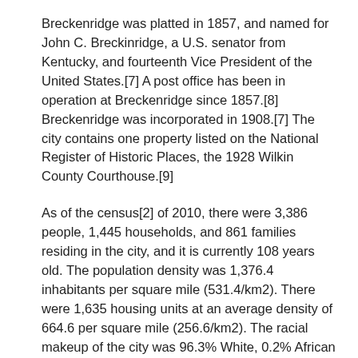Breckenridge was platted in 1857, and named for John C. Breckinridge, a U.S. senator from Kentucky, and fourteenth Vice President of the United States.[7] A post office has been in operation at Breckenridge since 1857.[8] Breckenridge was incorporated in 1908.[7] The city contains one property listed on the National Register of Historic Places, the 1928 Wilkin County Courthouse.[9]
As of the census[2] of 2010, there were 3,386 people, 1,445 households, and 861 families residing in the city, and it is currently 108 years old. The population density was 1,376.4 inhabitants per square mile (531.4/km2). There were 1,635 housing units at an average density of 664.6 per square mile (256.6/km2). The racial makeup of the city was 96.3% White, 0.2% African American, 1.4% Native American, 0.4% Asian, 0.3% from other races, and 1.4% from two or more races. Hispanic or Latino of any race were 2.5% of the population.